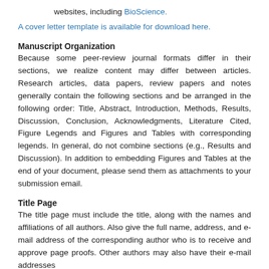websites, including BioScience.
A cover letter template is available for download here.
Manuscript Organization
Because some peer-review journal formats differ in their sections, we realize content may differ between articles. Research articles, data papers, review papers and notes generally contain the following sections and be arranged in the following order: Title, Abstract, Introduction, Methods, Results, Discussion, Conclusion, Acknowledgments, Literature Cited, Figure Legends and Figures and Tables with corresponding legends. In general, do not combine sections (e.g., Results and Discussion). In addition to embedding Figures and Tables at the end of your document, please send them as attachments to your submission email.
Title Page
The title page must include the title, along with the names and affiliations of all authors. Also give the full name, address, and e-mail address of the corresponding author who is to receive and approve page proofs. Other authors may also have their e-mail addresses